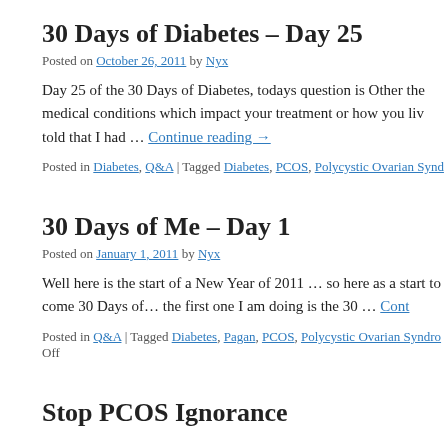30 Days of Diabetes – Day 25
Posted on October 26, 2011 by Nyx
Day 25 of the 30 Days of Diabetes, todays question is Other the medical conditions which impact your treatment or how you liv told that I had … Continue reading →
Posted in Diabetes, Q&A | Tagged Diabetes, PCOS, Polycystic Ovarian Synd...
30 Days of Me – Day 1
Posted on January 1, 2011 by Nyx
Well here is the start of a New Year of 2011 … so here as a start to come 30 Days of… the first one I am doing is the 30 … Cont...
Posted in Q&A | Tagged Diabetes, Pagan, PCOS, Polycystic Ovarian Syndro... Off
Stop PCOS Ignorance